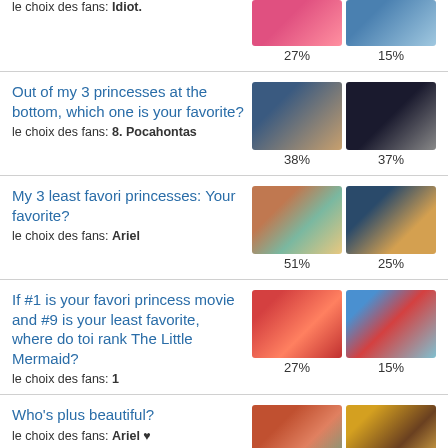le choix des fans: Idiot.
27%   15%
Out of my 3 princesses at the bottom, which one is your favorite?
le choix des fans: 8. Pocahontas
38%   37%
My 3 least favori princesses: Your favorite?
le choix des fans: Ariel
51%   25%
If #1 is your favori princess movie and #9 is your least favorite, where do toi rank The Little Mermaid?
le choix des fans: 1
27%   15%
Who's plus beautiful?
le choix des fans: Ariel ♥
76%   24%
Do toi think Prince Eric's parents